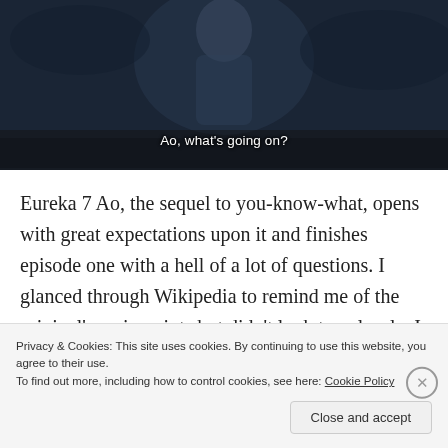[Figure (screenshot): Anime screenshot showing a scene with a character, dark background with blue tones, subtitle text reading 'Ao, what's going on?']
Eureka 7 Ao, the sequel to you-know-what, opens with great expectations upon it and finishes episode one with a hell of a lot of questions. I glanced through Wikipedia to remind me of the original's main points but didn't look too closely. I figure I would recall whatever important things I needed to know while …
Privacy & Cookies: This site uses cookies. By continuing to use this website, you agree to their use.
To find out more, including how to control cookies, see here: Cookie Policy
Close and accept